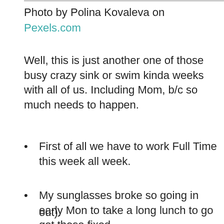Photo by Polina Kovaleva on Pexels.com
Well, this is just another one of those busy crazy sink or swim kinda weeks with all of us. Including Mom, b/c so much needs to happen.
First of all we have to work Full Time this week all week.
My sunglasses broke so going in early Mon to take a long lunch to go get those fixed.
Arrange with the storage place to pay for the out).
Privacy & Cookies: This site uses cookies. By continuing to use this website, you agree to their use.
To find out more, including how to control cookies, see here: Cookie Policy
Close and accept